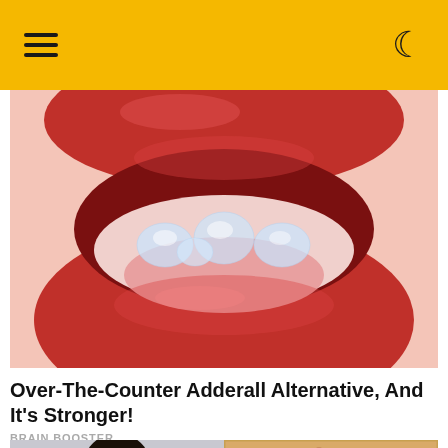[Figure (photo): Close-up macro photo of glossy red lips open with transparent gel capsules/gummy bears on tongue]
Over-The-Counter Adderall Alternative, And It's Stronger!
BRAIN BOOSTER
[Figure (photo): Woman with dark hair and hair roller looking down]
[Figure (photo): Close-up of granola or crumble topping in a baking dish]